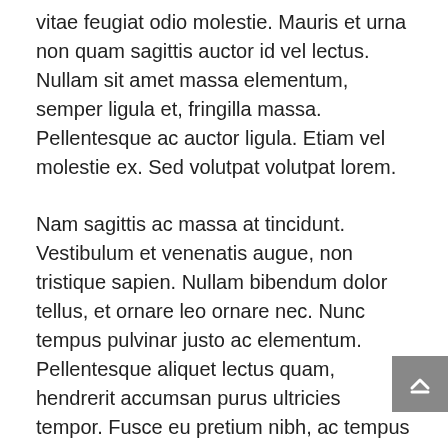vitae feugiat odio molestie. Mauris et urna non quam sagittis auctor id vel lectus. Nullam sit amet massa elementum, semper ligula et, fringilla massa. Pellentesque ac auctor ligula. Etiam vel molestie ex. Sed volutpat volutpat lorem.
Nam sagittis ac massa at tincidunt. Vestibulum et venenatis augue, non tristique sapien. Nullam bibendum dolor tellus, et ornare leo ornare nec. Nunc tempus pulvinar justo ac elementum. Pellentesque aliquet lectus quam, hendrerit accumsan purus ultricies tempor. Fusce eu pretium nibh, ac tempus mi. Donec id nisl non sem vestibulum iaculis vitae id nisl. Proin gravida elementum quam, quis ornare augue gravida nec. Mauris vulputate turpis in risus sodales sagittis.